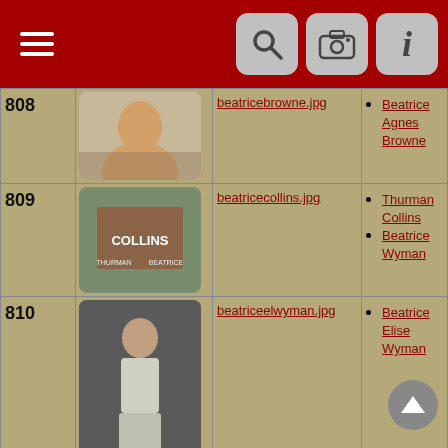Navigation header with hamburger menu, search, camera, and info icons
| # | Image | Filename | Names |
| --- | --- | --- | --- |
| 808 | [photo] | beatricebrowne.jpg | Beatrice Agnes Browne |
| 809 | [photo] | beatricecollins.jpg | Thurman Collins | Beatrice Wyman |
| 810 | [photo] | beatriceelwyman.jpg | Beatrice Elise Wyman |
| 811 | [photo] | beatriceewyman.jpg | Beatrice Elise Wyman |
| 812 | [photo] | beatriceewyman2.jpg | Beatrice Elise Wyman |